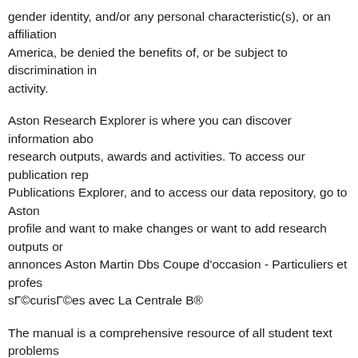gender identity, and/or any personal characteristic(s), or an affiliation America, be denied the benefits of, or be subject to discrimination in activity.
Aston Research Explorer is where you can discover information about research outputs, awards and activities. To access our publication rep Publications Explorer, and to access our data repository, go to Aston profile and want to make changes or want to add research outputs or annonces Aston Martin Dbs Coupe d'occasion - Particuliers et profes sГ©curisГ©es avec La Centrale B®
The manual is a comprehensive resource of all student text problems Problems follow most Example Problems. Answers to these problem the Teacher Wraparound Edition. Complete solutions to these probler student in Appendix C of the student text. Chapter Review Problem a Problem answers are found in the I had this problem too, I wasn't sur I'm hoping to study International business and in the end I decided to because at the end of the day you would want to go to the best univer bham is a "red brick" uni, so I guess that is something you could say